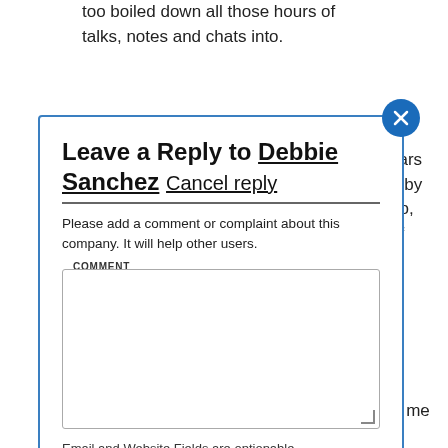too boiled down all those hours of talks, notes and chats into.
[Figure (screenshot): Modal dialog: 'Leave a Reply to Debbie Sanchez Cancel reply' with comment textarea and name input field, blue border, close X button top right]
(to sign up for this plan.) He said I could keep them in case I lost or broke mine. That they wouldn't cost me anything because Sprint would be sending me 3 visa cards for $168,( after